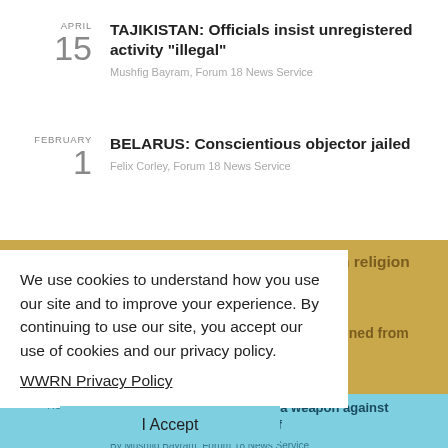APRIL 15 — TAJIKISTAN: Officials insist unregistered activity "illegal" — Mushfig Bayram, Forum 18 News Service
FEBRUARY 1 — BELARUS: Conscientious objector jailed — Felix Corley, Forum 18 News Service
JANUARY 19 — Kyrgyzstan keeps a tight grip on religion
JANUARY 5 — BELARUS: The Catholic priests banned from religious activity — Felix Corley, Forum 18 News Service
We use cookies to understand how you use our site and to improve your experience. By continuing to use our site, you accept our use of cookies and our privacy policy.
WWRN Privacy Policy
I Accept
AUGUST 4 — UZBEKISTAN: Registration a weapon against freedom of religion or belief — By Mushfig Bayram, Forum 18 News Service